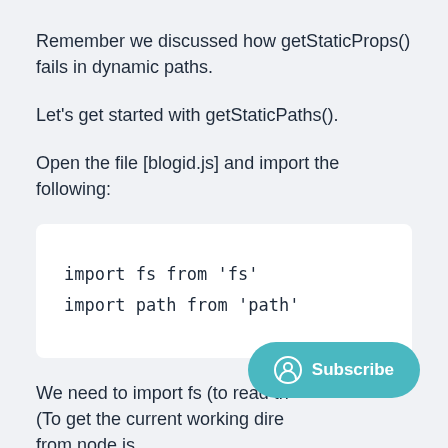Remember we discussed how getStaticProps() fails in dynamic paths.
Let's get started with getStaticPaths().
Open the file [blogid.js] and import the following:
[Figure (screenshot): Code block showing: import fs from 'fs'  import path from 'path']
We need to import fs (to read th... (To get the current working dire... from node.js.